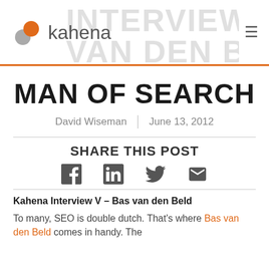INTERVIEWS BAS VAN DEN BELD – kahena
MAN OF SEARCH
David Wiseman  |  June 13, 2012
SHARE THIS POST
[Figure (infographic): Social share icons: Facebook, LinkedIn, Twitter, Email]
Kahena Interview V – Bas van den Beld
To many, SEO is double dutch. That's where Bas van den Beld comes in handy. The